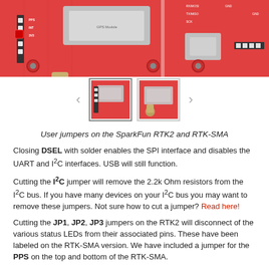[Figure (photo): Close-up photo of SparkFun RTK2 and RTK-SMA circuit boards in red, showing jumper pads and pin labels]
[Figure (photo): Two thumbnail images of the SparkFun RTK2 and RTK-SMA boards showing user jumper locations]
User jumpers on the SparkFun RTK2 and RTK-SMA
Closing DSEL with solder enables the SPI interface and disables the UART and I2C interfaces. USB will still function.
Cutting the I2C jumper will remove the 2.2k Ohm resistors from the I2C bus. If you have many devices on your I2C bus you may want to remove these jumpers. Not sure how to cut a jumper? Read here!
Cutting the JP1, JP2, JP3 jumpers on the RTK2 will disconnect of the various status LEDs from their associated pins. These have been labeled on the RTK-SMA version. We have included a jumper for the PPS on the top and bottom of the RTK-SMA.